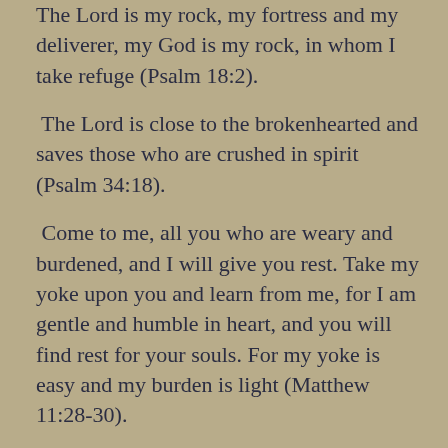The Lord is my rock, my fortress and my deliverer, my God is my rock, in whom I take refuge (Psalm 18:2).
The Lord is close to the brokenhearted and saves those who are crushed in spirit (Psalm 34:18).
Come to me, all you who are weary and burdened, and I will give you rest. Take my yoke upon you and learn from me, for I am gentle and humble in heart, and you will find rest for your souls. For my yoke is easy and my burden is light (Matthew 11:28-30).
May the God of hope fill you with all joy and peace as you trust in him, so that you may overflow with hope by the power of the Holy Spirit (Romans 15:13).